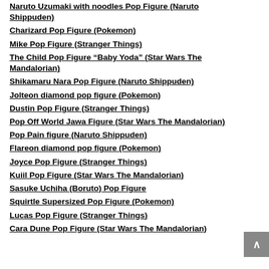Naruto Uzumaki with noodles Pop Figure (Naruto Shippuden)
Charizard Pop Figure (Pokemon)
Mike Pop Figure (Stranger Things)
The Child Pop Figure “Baby Yoda” (Star Wars The Mandalorian)
Shikamaru Nara Pop Figure (Naruto Shippuden)
Jolteon diamond pop figure (Pokemon)
Dustin Pop Figure (Stranger Things)
Pop Off World Jawa Figure (Star Wars The Mandalorian)
Pop Pain figure (Naruto Shippuden)
Flareon diamond pop figure (Pokemon)
Joyce Pop Figure (Stranger Things)
Kuiil Pop Figure (Star Wars The Mandalorian)
Sasuke Uchiha (Boruto) Pop Figure
Squirtle Supersized Pop Figure (Pokemon)
Lucas Pop Figure (Stranger Things)
Cara Dune Pop Figure (Star Wars The Mandalorian)